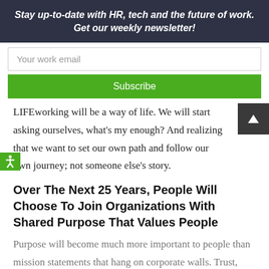Stay up-to-date with HR, tech and the future of work. Get our weekly newsletter!
Your work email
Subscribe
LIFEworking will be a way of life. We will start asking ourselves, what's my enough? And realizing that we want to set our own path and follow our own journey; not someone else's story.
Over The Next 25 Years, People Will Choose To Join Organizations With Shared Purpose That Values People
Purpose will become much more important to people than mission statements that hang on corporate walls. Trust, relationships and community will be the currencies that matter more in a world where people